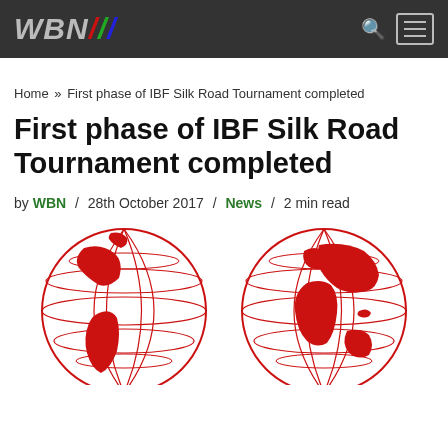WBN // [logo with navigation]
Home » First phase of IBF Silk Road Tournament completed
First phase of IBF Silk Road Tournament completed
by WBN / 28th October 2017 / News / 2 min read
[Figure (illustration): Two red globe illustrations showing world map outlines on white background]